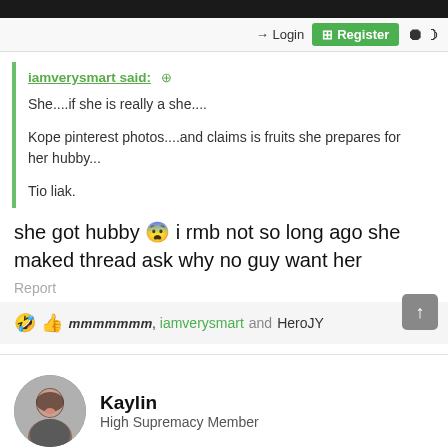Login | Register
iamverysmart said: ↑

She....if she is really a she....

Kope pinterest photos....and claims is fruits she prepares for her hubby...

Tio liak.
she got hubby 😨 i rmb not so long ago she maked thread ask why no guy want her
Report
🤣 👍 𝙢𝙢𝙢𝙢𝙢𝙢𝙢, iamverysmart and HeroJY
Kaylin
High Supremacy Member